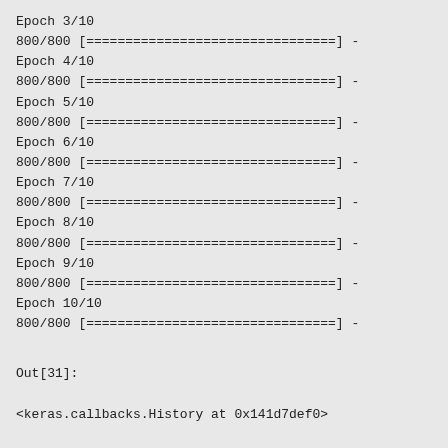Epoch 3/10
800/800 [================================] -
Epoch 4/10
800/800 [================================] -
Epoch 5/10
800/800 [================================] -
Epoch 6/10
800/800 [================================] -
Epoch 7/10
800/800 [================================] -
Epoch 8/10
800/800 [================================] -
Epoch 9/10
800/800 [================================] -
Epoch 10/10
800/800 [================================] -
Out[31]:
<keras.callbacks.History at 0x141d7def0>